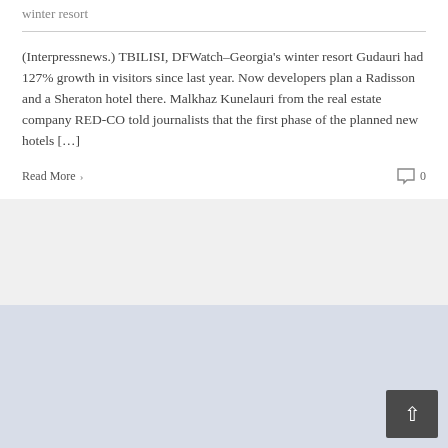winter resort
(Interpressnews.) TBILISI, DFWatch–Georgia's winter resort Gudauri had 127% growth in visitors since last year. Now developers plan a Radisson and a Sheraton hotel there. Malkhaz Kunelauri from the real estate company RED-CO told journalists that the first phase of the planned new hotels […]
Read More  ›
0
[Figure (other): Light blue-grey background card/section placeholder at bottom of page with a back-to-top button (dark grey square with white upward chevron arrow) in the bottom right corner.]